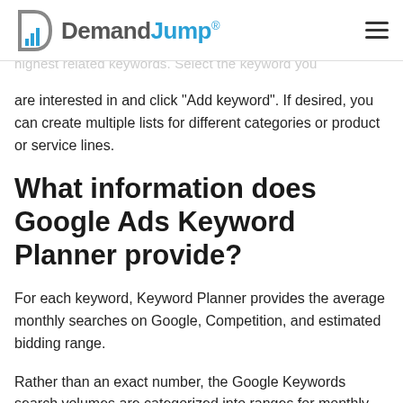DemandJump®
are interested in and click "Add keyword". If desired, you can create multiple lists for different categories or product or service lines.
What information does Google Ads Keyword Planner provide?
For each keyword, Keyword Planner provides the average monthly searches on Google, Competition, and estimated bidding range.
Rather than an exact number, the Google Keywords search volumes are categorized into ranges for monthly searches such as 10-100, 1k-10k, or 10k-